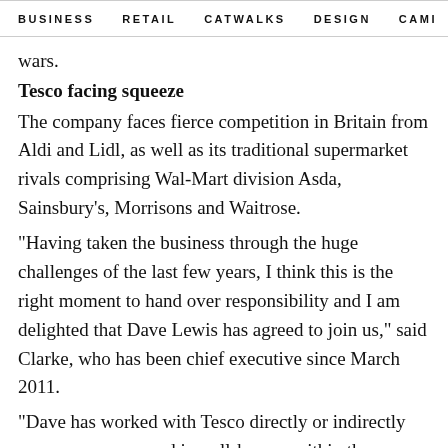BUSINESS   RETAIL   CATWALKS   DESIGN   CAMI  >
wars.
Tesco facing squeeze
The company faces fierce competition in Britain from Aldi and Lidl, as well as its traditional supermarket rivals comprising Wal-Mart division Asda, Sainsbury's, Morrisons and Waitrose.
"Having taken the business through the huge challenges of the last few years, I think this is the right moment to hand over responsibility and I am delighted that Dave Lewis has agreed to join us," said Clarke, who has been chief executive since March 2011.
"Dave has worked with Tesco directly or indirectly over many years and is well-known within the business.
"I will do everything in my power to support him in